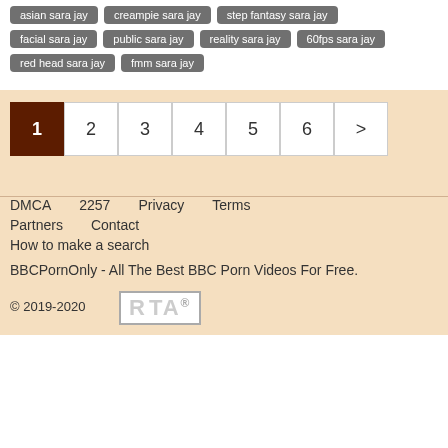asian sara jay
creampie sara jay
step fantasy sara jay
facial sara jay
public sara jay
reality sara jay
60fps sara jay
red head sara jay
fmm sara jay
1 2 3 4 5 6 >
DMCA  2257  Privacy  Terms  Partners  Contact  How to make a search
BBCPornOnly - All The Best BBC Porn Videos For Free.
© 2019-2020
[Figure (logo): RTA® badge logo in white box with grey border]